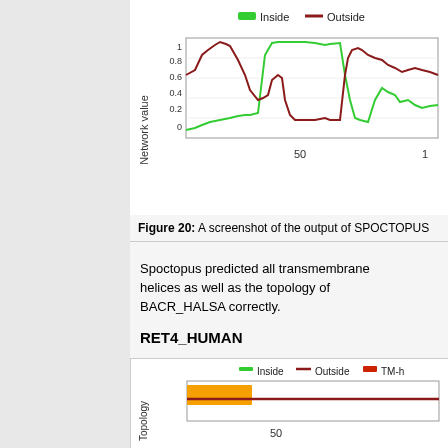[Figure (continuous-plot): Line chart showing Network value (y-axis, 0 to 1) vs position (x-axis, showing 50 and 1xx). Two lines: green 'Inside' and dark red 'Outside'. The inside line is low at start, rises and stays high in middle section then drops. Outside line is inverse.]
Figure 20: A screenshot of the output of SPOCTOPUS
Spoctopus predicted all transmembrane helices as well as the topology of BACR_HALSA correctly.
RET4_HUMAN
[Figure (continuous-plot): Chart showing Topology (y-axis) vs position (x-axis, showing 50). Legend shows green 'Inside', dark red 'Outside', red 'TM-h'. An orange/yellow horizontal bar is on the left portion, with a dark red line extending rightward.]